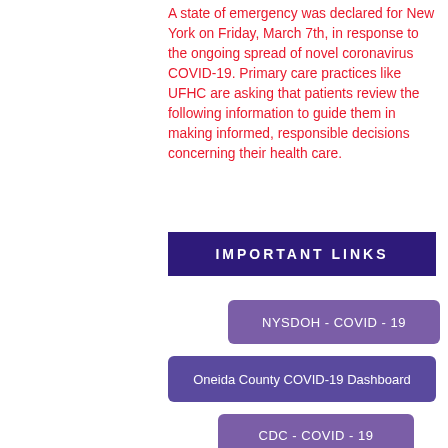A state of emergency was declared for New York on Friday, March 7th, in response to the ongoing spread of novel coronavirus COVID-19. Primary care practices like UFHC are asking that patients review the following information to guide them in making informed, responsible decisions concerning their health care.
IMPORTANT LINKS
NYSDOH - COVID - 19
Oneida County COVID-19 Dashboard
CDC - COVID - 19
CDC - COVID-19 FAQS
WHO - COVID - 19